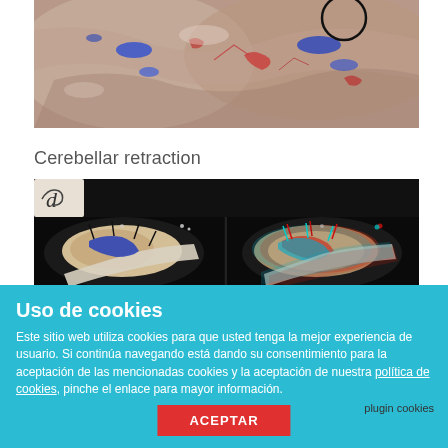[Figure (photo): Surgical/anatomical photo showing dissected tissue with blue and red dye markers, possibly a cadaveric dissection of cerebellar region. A circular annotation (black circle) is visible in the upper portion.]
Cerebellar retraction
[Figure (photo): Two side-by-side surgical images showing cerebellar retraction technique: left image is standard color photo, right image is anaglyph (red-cyan 3D) version of the same surgical view showing retractor and dural opening.]
Uso de cookies
Este sitio web utiliza cookies para que usted tenga la mejor experiencia de usuario. Si continúa navegando está dando su consentimiento para la aceptación de las mencionadas cookies y la aceptación de nuestra política de cookies, pinche el enlace para mayor información.
plugin cookies
ACEPTAR